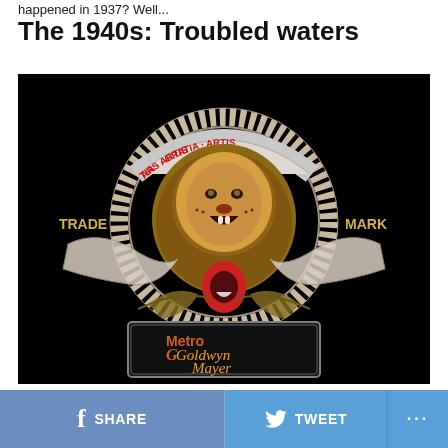happened in 1937? Well...
The 1940s: Troubled waters
[Figure (logo): MGM (Metro-Goldwyn-Mayer) logo on black background featuring a lion surrounded by a circular film reel frame with the Latin text 'Ars Gratia Artis', flanked by 'TRADE' and 'MARK' in gold letters, with decorative filmstrip ribbons and laurel branches, and 'Metro Goldwyn Mayer' text in stylized lettering at the bottom]
SHARE   TWEET   ...